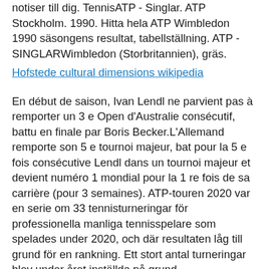notiser till dig. TennisATP - Singlar. ATP Stockholm. 1990. Hitta hela ATP Wimbledon 1990 säsongens resultat, tabellställning. ATP - SINGLARWimbledon (Storbritannien), gräs.
Hofstede cultural dimensions wikipedia
En début de saison, Ivan Lendl ne parvient pas à remporter un 3 e Open d'Australie consécutif, battu en finale par Boris Becker.L'Allemand remporte son 5 e tournoi majeur, bat pour la 5 e fois consécutive Lendl dans un tournoi majeur et devient numéro 1 mondial pour la 1 re fois de sa carrière (pour 3 semaines). ATP-touren 2020 var en serie om 33 tennisturneringar för professionella manliga tennisspelare som spelades under 2020, och där resultaten låg till grund för en rankning. Ett stort antal turneringar blev under året inställda på grund